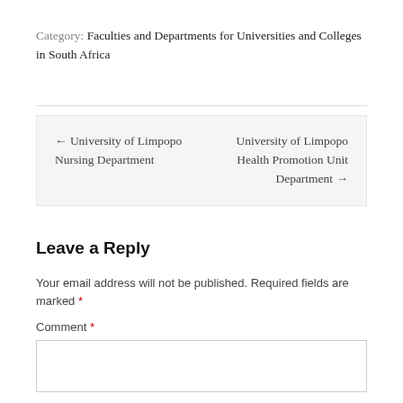Category: Faculties and Departments for Universities and Colleges in South Africa
← University of Limpopo Nursing Department
University of Limpopo Health Promotion Unit Department →
Leave a Reply
Your email address will not be published. Required fields are marked *
Comment *